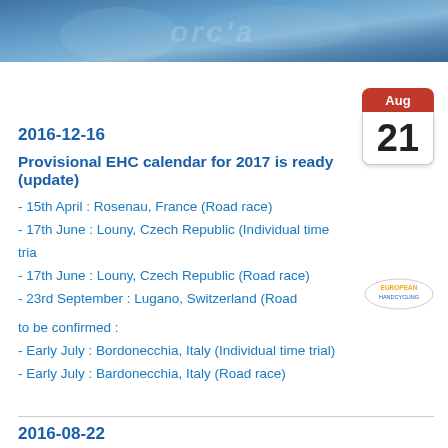[Figure (photo): Header banner photo showing athletes, blue tones with text 'force' partially visible]
[Figure (illustration): Calendar icon showing 'Aug' in red header and '21' in large black text below]
2016-12-16
Provisional EHC calendar for 2017 is ready (update)
[Figure (logo): European Handcycling logo - oval shaped with text]
- 15th April : Rosenau, France (Road race)
- 17th June : Louny, Czech Republic (Individual time trial)
- 17th June : Louny, Czech Republic (Road race)
- 23rd September : Lugano, Switzerland (Road race)
to be confirmed :
- Early July : Bordonecchia, Italy (Individual time trial)
- Early July : Bardonecchia, Italy (Road race)
[Figure (logo): Facebook icon - blue rounded square with white 'f' letter]
2016-08-22